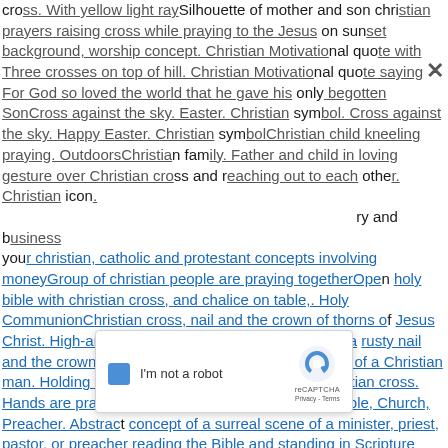cross. With yellow light raysSilhouette of mother and son christian prayers raising cross while praying to the Jesus on sunset background, worship concept. Christian Motivational quote with Three crosses on top of hill. Christian Motivational quote saying For God so loved the world that he gave his only begotten SonCross against the sky. Easter. Christian symbol. Cross against the sky. Happy Easter. Christian symbolChristian child kneeling praying. OutdoorsChristian family. Father and child in loving gesture over Christian cross and reaching out to each other. Christian icon. ...ury and business for your christian, catholic and protestant concepts involving moneyGroup of christian people are praying togetherOpen holy bible with christian cross, and chalice on table,. Holy CommunionChristian cross, nail and the crown of thorns of Jesus Christ. High-angle shot of a wooden christian cross, a rusty nail and the crown of thorns of Jesus ChristVintage hand of a Christian man. Holding a cross with faith in GodGoing to Christian cross. Hands are praying. He is RisenChristian Religion, Bible, Church, Preacher. Abstract concept of a surreal scene of a minister, priest, pastor, or preacher reading the Bible and standing in Scripture Verse Wall Art
[Figure (screenshot): reCAPTCHA widget overlay showing 'I'm not a robot' checkbox with reCAPTCHA logo, Privacy and Terms links]